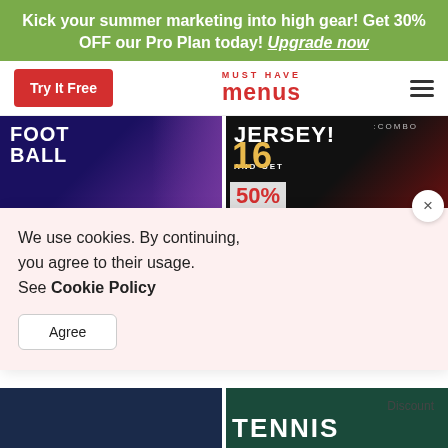Kick your summer marketing into high gear! Get 30% OFF our Pro Plan today! Upgrade now
[Figure (screenshot): Navigation bar with Try It Free button, Must Have Menus logo, and hamburger menu icon]
[Figure (screenshot): Football promotional card with text FOOT BALL ALL SATURDAY]
[Figure (screenshot): Jersey promotional card with text JERSEY! AND GET 50% OFF, COMBO 16, PRO]
We use cookies. By continuing, you agree to their usage. See Cookie Policy
Agree
Discount
[Figure (screenshot): Tennis promotional card with text TENNIS at bottom]